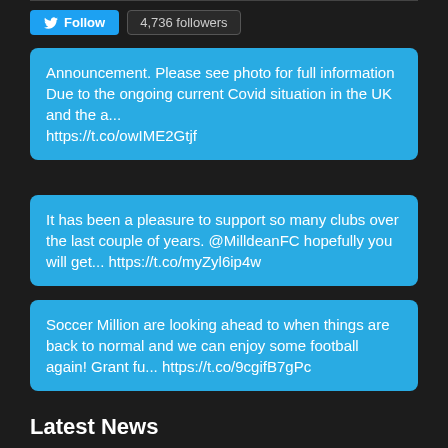Follow  4,736 followers
Announcement. Please see photo for full information Due to the ongoing current Covid situation in the UK and the a... https://t.co/owIME2Gtjf
It has been a pleasure to support so many clubs over the last couple of years. @MilldeanFC hopefully you will get... https://t.co/myZyl6ip4w
Soccer Million are looking ahead to when things are back to normal and we can enjoy some football again! Grant fu... https://t.co/9cgifB7gPc
Latest News